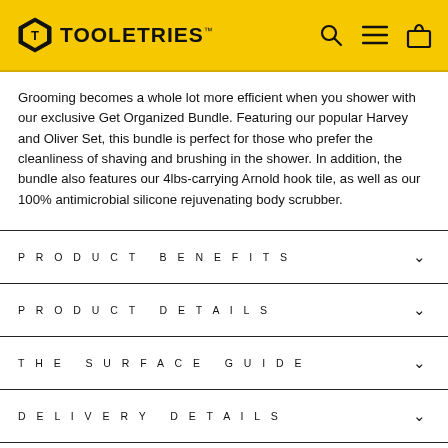TOOLETRIES
Grooming becomes a whole lot more efficient when you shower with our exclusive Get Organized Bundle. Featuring our popular Harvey and Oliver Set, this bundle is perfect for those who prefer the cleanliness of shaving and brushing in the shower. In addition, the bundle also features our 4lbs-carrying Arnold hook tile, as well as our 100% antimicrobial silicone rejuvenating body scrubber.
PRODUCT BENEFITS
PRODUCT DETAILS
THE SURFACE GUIDE
DELIVERY DETAILS
REVIEWS